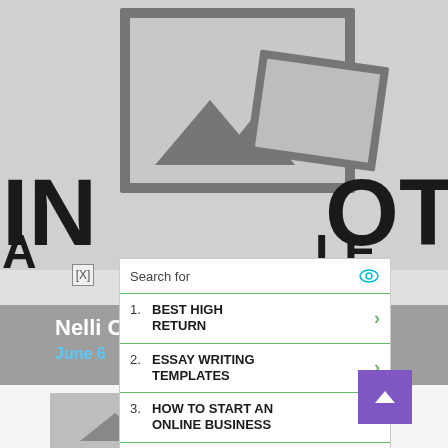[Figure (screenshot): Website screenshot showing a placeholder image at top and large bold letters 'IN...OT' and 'A...LE' visible behind an ad overlay]
[Figure (screenshot): Ad overlay: Search for — 1. BEST HIGH RETURN, 2. ESSAY WRITING TEMPLATES, 3. HOW TO START AN ONLINE BUSINESS, 4. CLOTHING STORE WOMEN OVER 50. Footer: Ad | Business Focus]
Nelli Co... June 6
[Figure (screenshot): Bottom section with another placeholder image and purple scroll-to-top button]